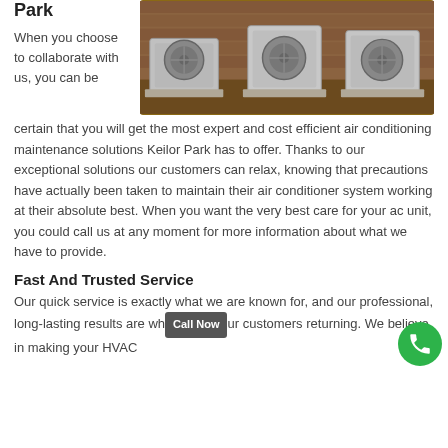Park
[Figure (photo): Outdoor HVAC condenser units mounted on concrete pads against a brick wall with mulch ground cover]
When you choose to collaborate with us, you can be certain that you will get the most expert and cost efficient air conditioning maintenance solutions Keilor Park has to offer. Thanks to our exceptional solutions our customers can relax, knowing that precautions have actually been taken to maintain their air conditioner system working at their absolute best. When you want the very best care for your ac unit, you could call us at any moment for more information about what we have to provide.
Fast And Trusted Service
Our quick service is exactly what we are known for, and our professional, long-lasting results are what keeps our customers returning. We believe in making your HVAC